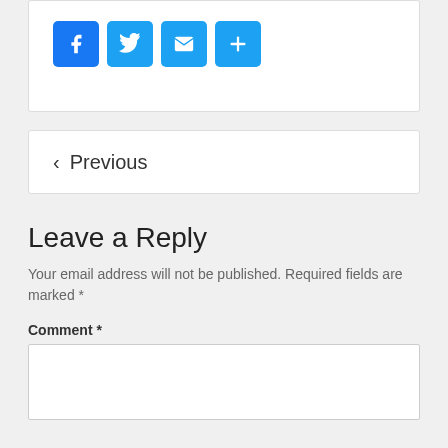[Figure (other): Social share buttons: Facebook (blue F icon), Twitter (blue bird icon), Email (blue envelope icon), More/Share (blue plus icon)]
< Previous
Leave a Reply
Your email address will not be published. Required fields are marked *
Comment *